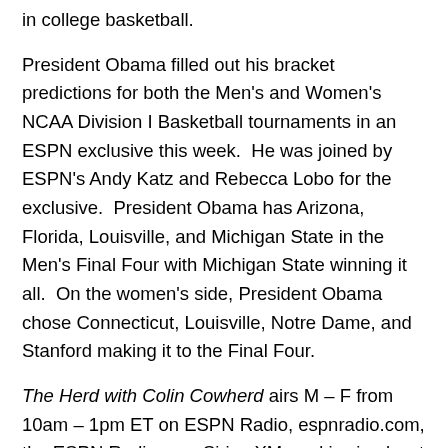in college basketball.
President Obama filled out his bracket predictions for both the Men's and Women's NCAA Division I Basketball tournaments in an ESPN exclusive this week.  He was joined by ESPN's Andy Katz and Rebecca Lobo for the exclusive.  President Obama has Arizona, Florida, Louisville, and Michigan State in the Men's Final Four with Michigan State winning it all.  On the women's side, President Obama chose Connecticut, Louisville, Notre Dame, and Stanford making it to the Final Four.
The Herd with Colin Cowherd airs M – F from 10am – 1pm ET on ESPN Radio, espnradio.com, the ESPN Radio app, Sirius XM, and is simulcast on ESPNU.
More information on today's broadcast is available online